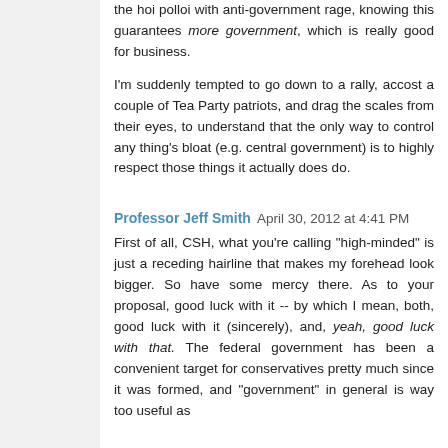the hoi polloi with anti-government rage, knowing this guarantees more government, which is really good for business.
I'm suddenly tempted to go down to a rally, accost a couple of Tea Party patriots, and drag the scales from their eyes, to understand that the only way to control any thing's bloat (e.g. central government) is to highly respect those things it actually does do.
Professor Jeff Smith  April 30, 2012 at 4:41 PM
First of all, CSH, what you're calling "high-minded" is just a receding hairline that makes my forehead look bigger. So have some mercy there. As to your proposal, good luck with it -- by which I mean, both, good luck with it (sincerely), and, yeah, good luck with that. The federal government has been a convenient target for conservatives pretty much since it was formed, and "government" in general is way too useful as